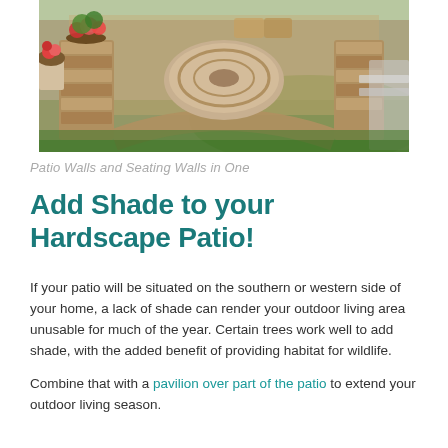[Figure (photo): Outdoor patio area with stone seating walls, raised planters with flowers, circular stone table or fire pit surface, green lawn in background, adjacent to a home exterior.]
Patio Walls and Seating Walls in One
Add Shade to your Hardscape Patio!
If your patio will be situated on the southern or western side of your home, a lack of shade can render your outdoor living area unusable for much of the year. Certain trees work well to add shade, with the added benefit of providing habitat for wildlife.
Combine that with a pavilion over part of the patio to extend your outdoor living season.